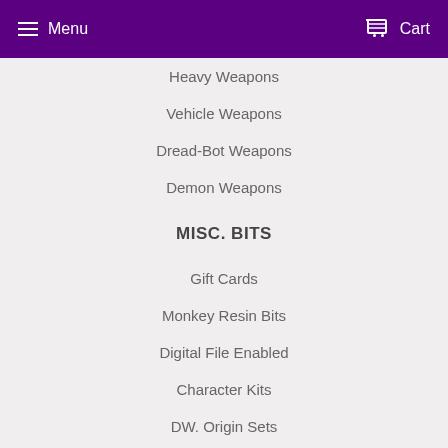Menu  Cart
Heavy Weapons
Vehicle Weapons
Dread-Bot Weapons
Demon Weapons
MISC. BITS
Gift Cards
Monkey Resin Bits
Digital File Enabled
Character Kits
DW. Origin Sets
Head Swaps
PGTM Swag
Our Automated Production Policy